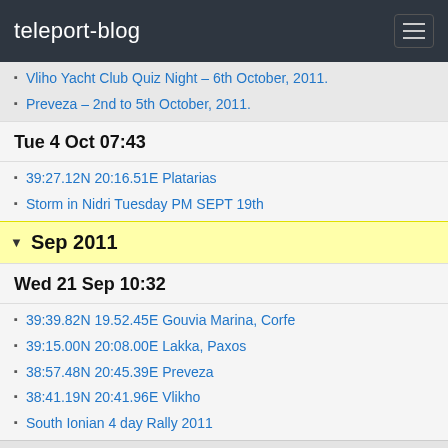teleport-blog
Vliho Yacht Club Quiz Night – 6th October, 2011.
Preveza – 2nd to 5th October, 2011.
Tue 4 Oct 07:43
39:27.12N 20:16.51E Platarias
Storm in Nidri Tuesday PM SEPT 19th
Sep 2011
Wed 21 Sep 10:32
39:39.82N 19.52.45E Gouvia Marina, Corfe
39:15.00N 20:08.00E Lakka, Paxos
38:57.48N 20:45.39E Preveza
38:41.19N 20:41.96E Vlikho
South Ionian 4 day Rally 2011
Fri 9 Sep 15:57
38:39.80N 20:47.10E Vathi, Meganisi
38:41.41N 20:44.87E Skorpios Island
Mon 5 Sep 14:54
38:45.73N 20:47.34E Varko (One Tree Bay) Pictures